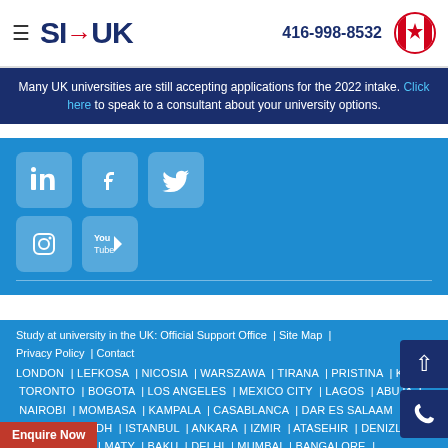≡  SI→UK   416-998-8532
Many UK universities are still accepting applications for the 2022 intake. Click here to speak to a consultant about your university options.
[Figure (illustration): Social media icons: LinkedIn, Facebook, Twitter, Instagram, YouTube on blue background]
Study at university in the UK: Official Support Office | Site Map | Privacy Policy | Contact | LONDON | LEFKOSA | NICOSIA | WARSZAWA | TIRANA | PRISTINA | KYIV | TORONTO | BOGOTA | LOS ANGELES | MEXICO CITY | LAGOS | ABUJA | NAIROBI | MOMBASA | KAMPALA | CASABLANCA | DAR ES SALAAM | ACCRA | RIYADH | ISTANBUL | ANKARA | IZMIR | ATASEHIR | DENIZLI | TASHKENT | ALMATY | BAKU | DELHI | MUMBAI | BANGALORE | CHENNAI | COIMBATORE | PUNE | JAIPUR | AHMEDABAD | LUCKNOW | HYDERABAD | KOCHI | KOLKATA | CHANDIGARH | GURUGRAM | THANE | NAGPUR | INDORE | VIJAYAWADA | RAWALPINDI | KARACHI | LAHORE | PESHAWAR | FAISALABAD | SAHIWAL | MULTAN | DHAKA | KATHMANDU | COLOMBO | JAFFNA | TOKYO | OSAKA | BANGKOK | CHIANG MAI | BEIJING | GUANGZHOU | CHANGSHA | HONG